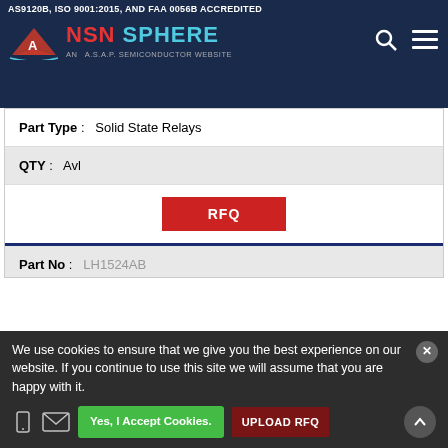AS9120B, ISO 9001:2015, AND FAA 0056B ACCREDITED — NSN SPHERE, AN A.S.A.P. SEMICONDUCTOR WEBSITE
| Field | Value |
| --- | --- |
| Part Type : | Solid State Relays |
| QTY : | Avl |
|  | RFQ |
| Part No : | LH1524AB |
| Description : | Solid State Relay, Dual Transistor Output Solid State Relay, 3750 V Isolation-Max |
| Part Type : | Solid State Relays |
| QTY : | Avl |
We use cookies to ensure that we give you the best experience on our website. If you continue to use this site we will assume that you are happy with it.
Yes, I Accept Cookies.
UPLOAD RFQ